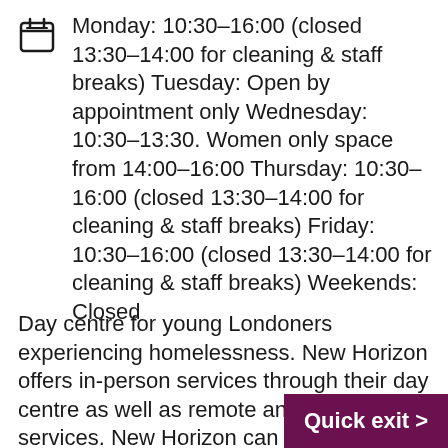Monday: 10:30-16:00 (closed 13:30-14:00 for cleaning & staff breaks) Tuesday: Open by appointment only Wednesday: 10:30-13:30. Women only space from 14:00-16:00 Thursday: 10:30-16:00 (closed 13:30-14:00 for cleaning & staff breaks) Friday: 10:30-16:00 (closed 13:30-14:00 for cleaning & staff breaks) Weekends: Closed
Day centre for young Londoners experiencing homelessness. New Horizon offers in-person services through their day centre as well as remote and outreach services. New Horizon can help with: Housing advice and advocacy (including specialist support if you're sleeping rough) Support with accessing b... Education, employment...